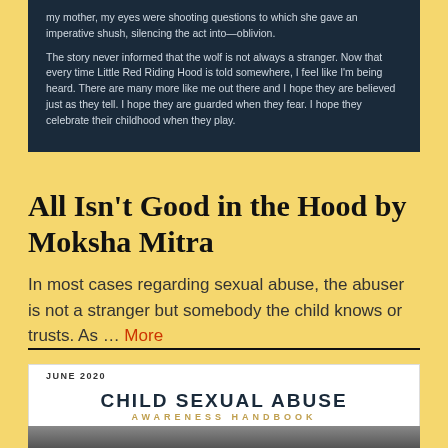my mother, my eyes were shooting questions to which she gave an imperative shush, silencing the act into—oblivion.

The story never informed that the wolf is not always a stranger. Now that every time Little Red Riding Hood is told somewhere, I feel like I'm being heard. There are many more like me out there and I hope they are believed just as they tell. I hope they are guarded when they fear. I hope they celebrate their childhood when they play.
All Isn't Good in the Hood by Moksha Mitra
In most cases regarding sexual abuse, the abuser is not a stranger but somebody the child knows or trusts. As … More
[Figure (other): Child Sexual Abuse Awareness Handbook cover card with JUNE 2020 label and photo strip at bottom]